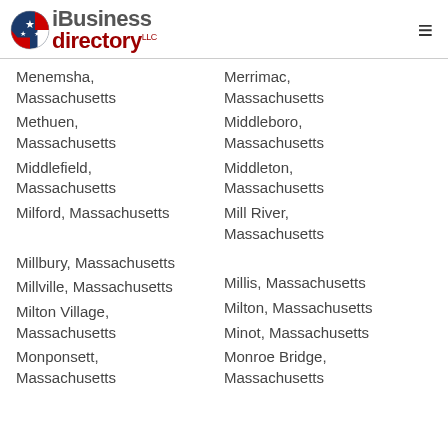iBusiness directory LLC
Menemsha, Massachusetts
Methuen, Massachusetts
Middlefield, Massachusetts
Milford, Massachusetts
Millbury, Massachusetts
Millville, Massachusetts
Milton Village, Massachusetts
Monponsett, Massachusetts
Merrimac, Massachusetts
Middleboro, Massachusetts
Middleton, Massachusetts
Mill River, Massachusetts
Millis, Massachusetts
Milton, Massachusetts
Minot, Massachusetts
Monroe Bridge, Massachusetts